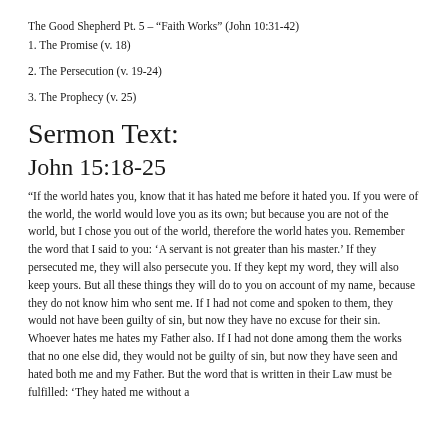The Good Shepherd Pt. 5 – “Faith Works” (John 10:31-42)
1. The Promise (v. 18)
2. The Persecution (v. 19-24)
3. The Prophecy (v. 25)
Sermon Text:
John 15:18-25
“If the world hates you, know that it has hated me before it hated you. If you were of the world, the world would love you as its own; but because you are not of the world, but I chose you out of the world, therefore the world hates you. Remember the word that I said to you: ‘A servant is not greater than his master.’ If they persecuted me, they will also persecute you. If they kept my word, they will also keep yours. But all these things they will do to you on account of my name, because they do not know him who sent me. If I had not come and spoken to them, they would not have been guilty of sin, but now they have no excuse for their sin. Whoever hates me hates my Father also. If I had not done among them the works that no one else did, they would not be guilty of sin, but now they have seen and hated both me and my Father. But the word that is written in their Law must be fulfilled: ‘They hated me without a